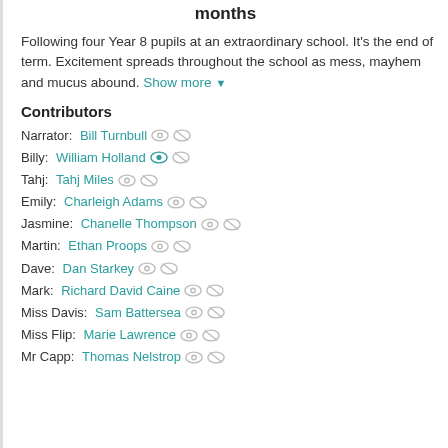months
Following four Year 8 pupils at an extraordinary school. It's the end of term. Excitement spreads throughout the school as mess, mayhem and mucus abound. Show more
Contributors
Narrator: Bill Turnbull
Billy: William Holland
Tahj: Tahj Miles
Emily: Charleigh Adams
Jasmine: Chanelle Thompson
Martin: Ethan Proops
Dave: Dan Starkey
Mark: Richard David Caine
Miss Davis: Sam Battersea
Miss Flip: Marie Lawrence
Mr Capp: Thomas Nelstrop